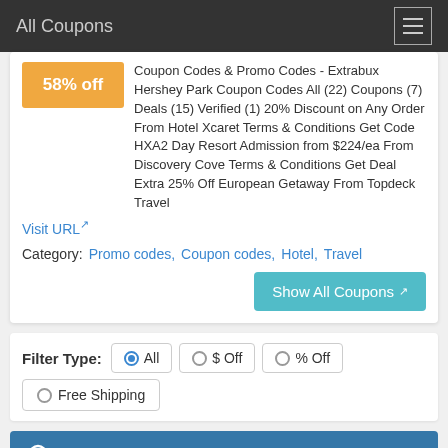All Coupons
58% off Coupon Codes & Promo Codes - Extrabux Hershey Park Coupon Codes All (22) Coupons (7) Deals (15) Verified (1) 20% Discount on Any Order From Hotel Xcaret Terms & Conditions Get Code HXA2 Day Resort Admission from $224/ea From Discovery Cove Terms & Conditions Get Deal Extra 25% Off European Getaway From Topdeck Travel
Visit URL
Category: Promo codes, Coupon codes, Hotel, Travel
Show All Coupons
Filter Type: All  $ Off  % Off  Free Shipping
Search UpTo